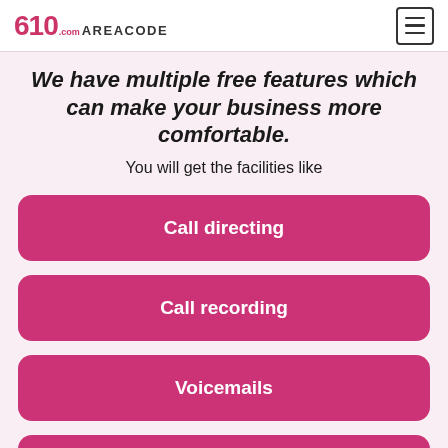610 AREACODE .com
We have multiple free features which can make your business more comfortable.
You will get the facilities like
Call directing
Call recording
Voicemails
(partial fourth button)